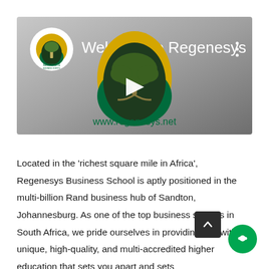[Figure (screenshot): YouTube video thumbnail for 'Welcome to Regenesys' showing the Regenesys logo (tree in an oval shape with yellow and green colors), a play button in the center, and the URL www.regenesys.net at the bottom. The background is a gray gradient.]
Located in the 'richest square mile in Africa', Regenesys Business School is aptly positioned in the multi-billion Rand business hub of Sandton, Johannesburg. As one of the top business schools in South Africa, we pride ourselves in providing you with unique, high-quality, and multi-accredited higher education that sets you apart and sets